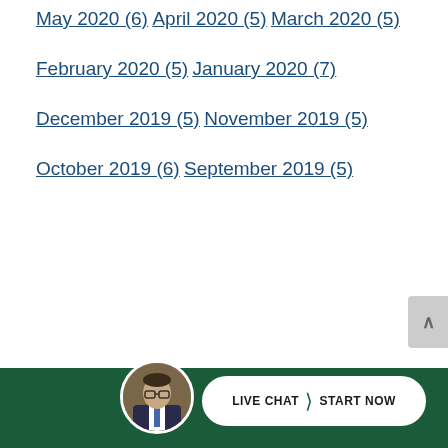May 2020 (6)
April 2020 (5)
March 2020 (5)
February 2020 (5)
January 2020 (7)
December 2019 (5)
November 2019 (5)
October 2019 (6)
September 2019 (5)
LIVE CHAT  START NOW